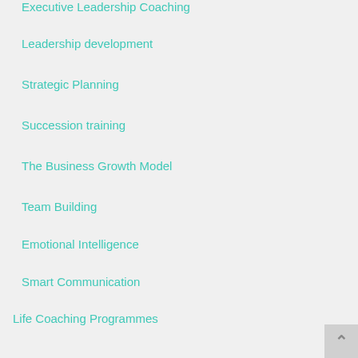Executive Leadership Coaching
Leadership development
Strategic Planning
Succession training
The Business Growth Model
Team Building
Emotional Intelligence
Smart Communication
Life Coaching Programmes
Blog
Contact
PA Academy
Checkout